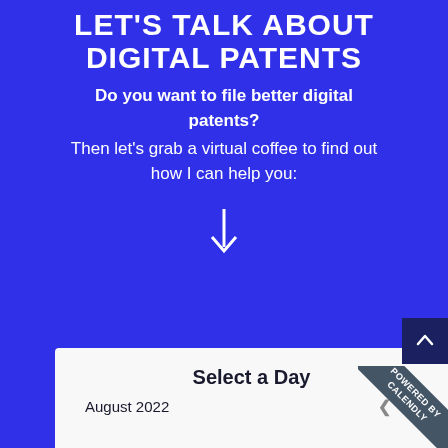LET'S TALK ABOUT DIGITAL PATENTS
Do you want to file better digital patents?
Then let's grab a virtual coffee to find out how I can help you:
[Figure (other): Down arrow symbol pointing downward]
[Figure (screenshot): Calendly scheduling widget with 'Select a Day' header, badge 'POWERED BY Calendly', and 'August 2022' with navigation arrows]
August 2022